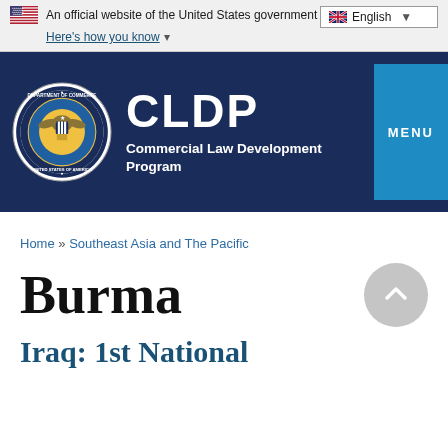An official website of the United States government. Here's how you know. English.
[Figure (logo): CLDP — Commercial Law Development Program logo with Department of Commerce seal on dark navy background with MENU button]
Home » Southeast Asia and The Pacific
Burma
Iraq: 1st National